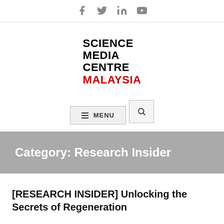Social icons: Facebook, Twitter, LinkedIn, YouTube
[Figure (logo): Science Media Centre Malaysia logo — bold black text 'SCIENCE MEDIA CENTRE' with 'MALAYSIA' in red below]
[Figure (screenshot): Navigation menu button with hamburger icon and MENU label, plus a search icon button]
Category: Research Insider
[RESEARCH INSIDER] Unlocking the Secrets of Regeneration